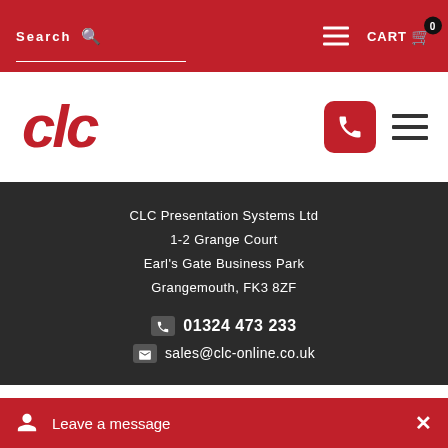Search | CART 0
[Figure (logo): CLC logo in red italic bold text]
CLC Presentation Systems Ltd
1-2 Grange Court
Earl's Gate Business Park
Grangemouth, FK3 8ZF

01324 473 233
sales@clc-online.co.uk
This website uses cookies to improve your experience. We'll assume you're ok with this, but you can opt-ou
Leave a message